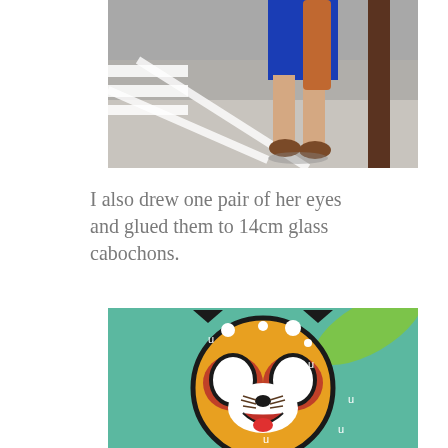[Figure (photo): Photo of a person's legs wearing a blue dress and brown loafers, standing on a sidewalk near a striped crosswalk and a wooden post.]
I also drew one pair of her eyes and glued them to 14cm glass cabochons.
[Figure (illustration): Cartoon illustration of Aggretsuko (a cute red panda character) with large white eyes, small black nose, and an open smiling mouth with red tongue, on a teal/green background with white dot markings and black 'u' shapes.]